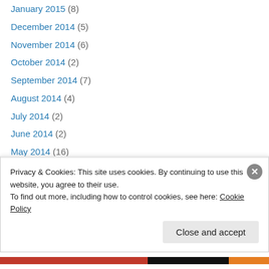January 2015 (8)
December 2014 (5)
November 2014 (6)
October 2014 (2)
September 2014 (7)
August 2014 (4)
July 2014 (2)
June 2014 (2)
May 2014 (16)
April 2014 (4)
March 2014 (2)
February 2014 (2)
January 2014 (3)
December 2013 (7)
Privacy & Cookies: This site uses cookies. By continuing to use this website, you agree to their use. To find out more, including how to control cookies, see here: Cookie Policy
Close and accept